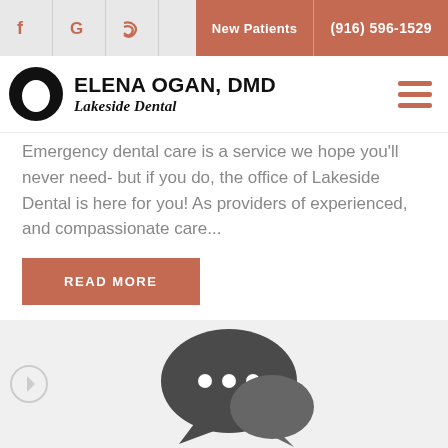New Patients  (916) 596-1529
[Figure (logo): Elena Ogan DMD Lakeside Dental logo with tooth icon]
Emergency dental care is a service we hope you'll never need- but if you do, the office of Lakeside Dental is here for you! As providers of experienced, and compassionate care...
READ MORE
[Figure (illustration): Speech bubble / chat icon illustration in dark gray on light gray background]